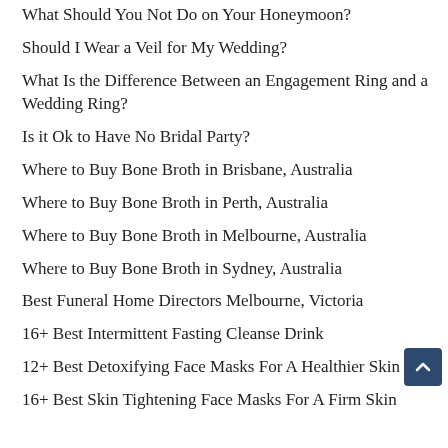What Should You Not Do on Your Honeymoon?
Should I Wear a Veil for My Wedding?
What Is the Difference Between an Engagement Ring and a Wedding Ring?
Is it Ok to Have No Bridal Party?
Where to Buy Bone Broth in Brisbane, Australia
Where to Buy Bone Broth in Perth, Australia
Where to Buy Bone Broth in Melbourne, Australia
Where to Buy Bone Broth in Sydney, Australia
Best Funeral Home Directors Melbourne, Victoria
16+ Best Intermittent Fasting Cleanse Drink
12+ Best Detoxifying Face Masks For A Healthier Skin
16+ Best Skin Tightening Face Masks For A Firm Skin